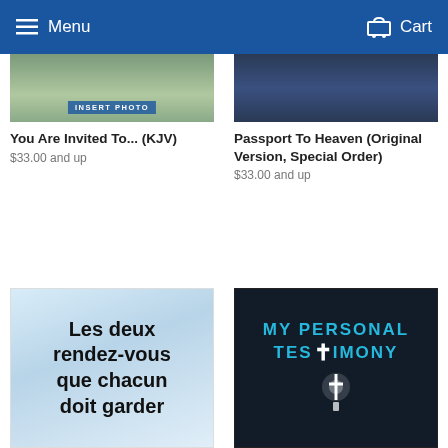Menu   Cart
[Figure (photo): Product image with INSERT PHOTO placeholder over building/outdoor scene]
You Are Invited To... (KJV)
$33.00 and up
[Figure (photo): Product image with dark denim/blue fabric background]
Passport To Heaven (Original Version, Special Order)
$33.00 and up
[Figure (photo): French booklet cover showing text: Les deux rendez-vous que chacun doit garder]
[Figure (photo): Book cover: MY PERSONAL TESTIMONY with glowing cross and silhouette figure]